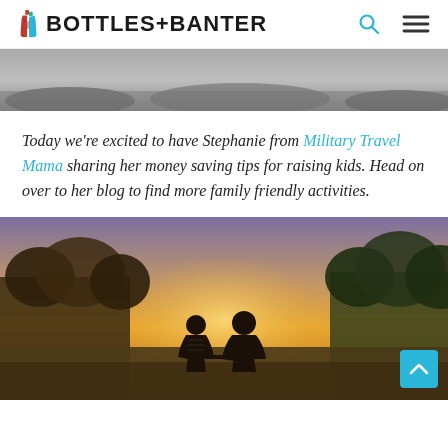BOTTLES+BANTER
[Figure (photo): Grayscale photo strip — sandy/dusty ground with shadows, partial bottom of an image]
Today we're excited to have Stephanie from Military Travel Mama sharing her money saving tips for raising kids. Head on over to her blog to find more family friendly activities.
[Figure (photo): Outdoor sunset photo of a couple (man and woman) standing in a field holding hands, backs to camera, trees and sky in background with warm orange and purple light]